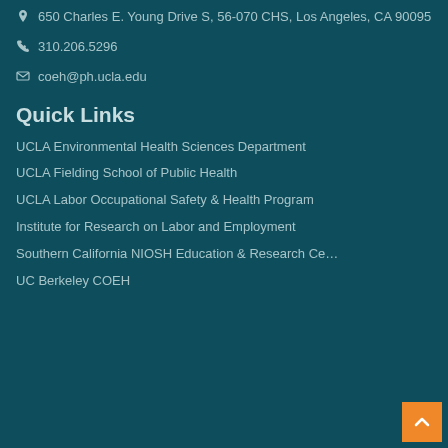650 Charles E. Young Drive S, 56-070 CHS, Los Angeles, CA 90095
310.206.5296
coeh@ph.ucla.edu
Quick Links
UCLA Environmental Health Sciences Department
UCLA Fielding School of Public Health
UCLA Labor Occupational Safety & Health Program
Institute for Research on Labor and Employment
Southern California NIOSH Education & Research Ce…
UC Berkeley COEH